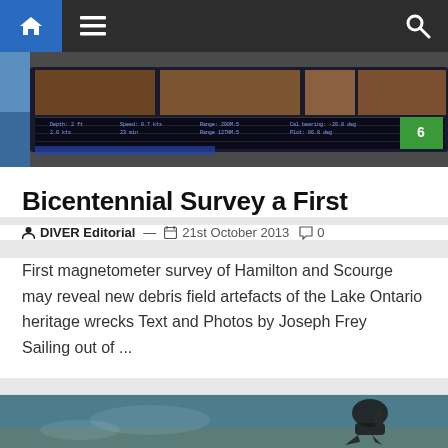Navigation bar with home, menu, and search icons
[Figure (photo): Close-up of a computer screen showing sonar/survey data software with images of wrecks visible on screen]
Bicentennial Survey a First
DIVER Editorial — 21st October 2013  0
First magnetometer survey of Hamilton and Scourge may reveal new debris field artefacts of the Lake Ontario heritage wrecks Text and Photos by Joseph Frey   Sailing out of ...
[Figure (photo): Underwater photo of a scuba diver swimming above sandy seabed]